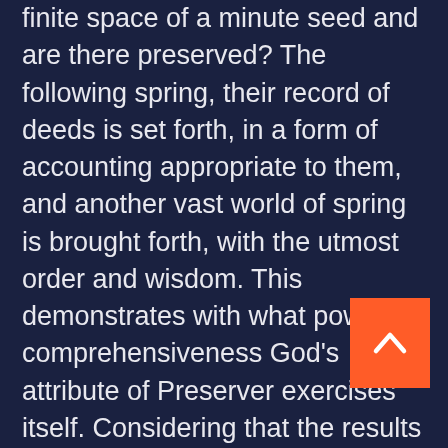finite space of a minute seed and are there preserved? The following spring, their record of deeds is set forth, in a form of accounting appropriate to them, and another vast world of spring is brought forth, with the utmost order and wisdom. This demonstrates with what powerful comprehensiveness God's attribute of Preserver exercises itself. Considering that the results of such transient, commonplace, impermanent and insignificant things are preserved, is it at all possible that men's deeds, that yield important fruit in the world of the unseen, the world of the hereafter, and the world of spirits, from the point of view of universal dominicality, is it at all possible that they should not be guarded
[Figure (other): Orange scroll-to-top button with upward chevron arrow, positioned at bottom right]